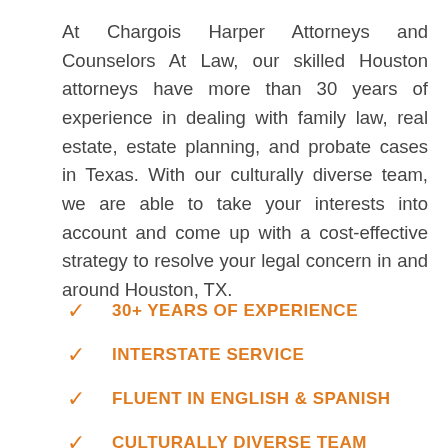At Chargois Harper Attorneys and Counselors At Law, our skilled Houston attorneys have more than 30 years of experience in dealing with family law, real estate, estate planning, and probate cases in Texas. With our culturally diverse team, we are able to take your interests into account and come up with a cost-effective strategy to resolve your legal concern in and around Houston, TX.
30+ YEARS OF EXPERIENCE
INTERSTATE SERVICE
FLUENT IN ENGLISH & SPANISH
CULTURALLY DIVERSE TEAM